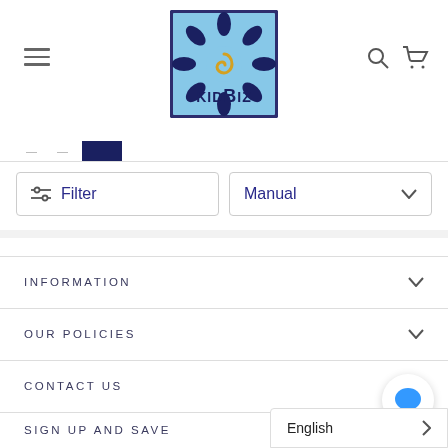[Figure (logo): KidBiz logo: sun/spiral design in blue square with text KIDBIZ]
Filter
Manual
INFORMATION
OUR POLICIES
CONTACT US
SIGN UP AND SAVE
English